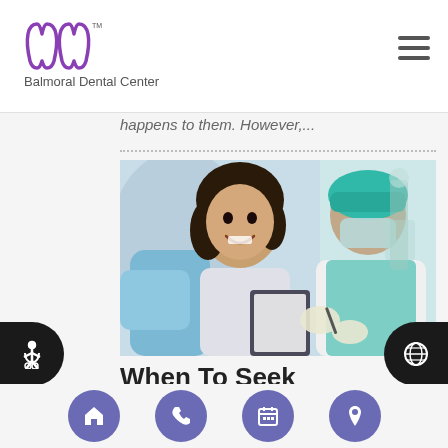Balmoral Dental Center
happens to them. However,...
[Figure (photo): A smiling female patient seated in a dental chair looking at a dentist in teal scrubs who is reviewing a clipboard]
When To Seek Emergency Dental Care